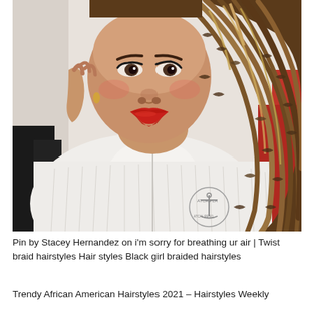[Figure (photo): A woman with long braided twist hairstyle (brown and blonde tones) wearing a white textured zip-up jacket/robe with an emblem on it. She has bold red lipstick and is posing for a selfie-style photo against a light background.]
Pin by Stacey Hernandez on i'm sorry for breathing ur air | Twist braid hairstyles Hair styles Black girl braided hairstyles
Trendy African American Hairstyles 2021 – Hairstyles Weekly